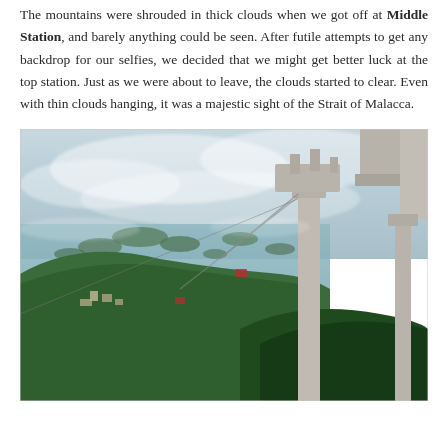The mountains were shrouded in thick clouds when we got off at Middle Station, and barely anything could be seen. After futile attempts to get any backdrop for our selfies, we decided that we might get better luck at the top station. Just as we were about to leave, the clouds started to clear. Even with thin clouds hanging, it was a majestic sight of the Strait of Malacca.
[Figure (photo): Aerial view from a cable car station looking down over dense green jungle, islands, and the Strait of Malacca shrouded in haze. Large concrete cable car support pylons visible on the right side. Small cable cars visible in the distance.]